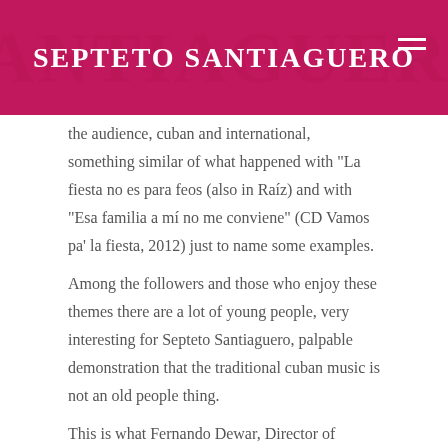SEPTETO SANTIAGUERO
the audience, cuban and international, something similar of what happened with “La fiesta no es para feos (also in Raíz) and with “Esa familia a mí no me conviene” (CD Vamos pa’ la fiesta, 2012) just to name some examples.
Among the followers and those who enjoy these themes there are a lot of young people, very interesting for Septeto Santiaguero, palpable demonstration that the traditional cuban music is not an old people thing.
This is what Fernando Dewar, Director of Septeto, said, focused on
showing to the new generations the quality, the diversity, the greatness of compositionts which for a